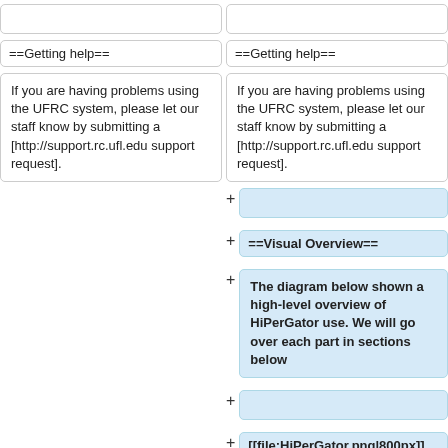(empty box left top)
(empty box right top)
==Getting help==
==Getting help==
If you are having problems using the UFRC system, please let our staff know by submitting a [http://support.rc.ufl.edu support request].
If you are having problems using the UFRC system, please let our staff know by submitting a [http://support.rc.ufl.edu support request].
(empty blue box)
==Visual Overview==
The diagram below shown a high-level overview of HiPerGator use. We will go over each part in sections below
(empty blue box)
[[file:HiPerGator.png|800px]]